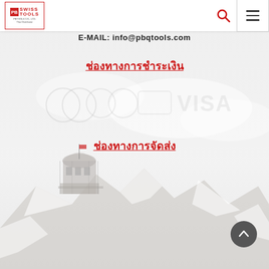[Figure (logo): PB Swiss Tools logo in red border box with red icon and text]
E-MAIL: info@pbqtools.com
ช่องทางการชำระเงิน
[Figure (illustration): Payment method icons: multiple card/payment logos including VISA, partially visible. Background shows a snowy Swiss mountain observatory scene.]
ช่องทางการจัดส่ง
[Figure (photo): Background image of a Swiss alpine mountain observatory building on rocky snowy summit, very faded/light watermark style]